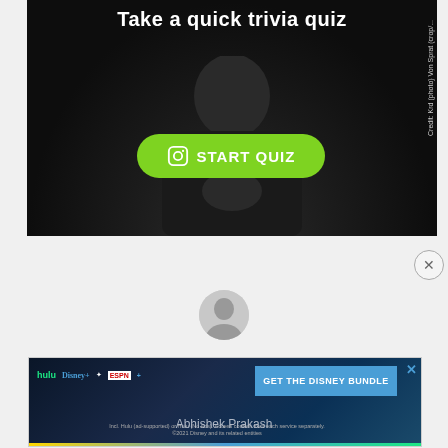[Figure (screenshot): Dark background image of a person in a black shirt with hands clasped, overlaid with 'Take a quick trivia quiz' text and a green START QUIZ button with an Instagram icon. Credit text reads: Credit: Krd (photo) Von Sprat (crop/...]
[Figure (photo): Partial circular avatar/profile image of Abhishek Prakash, showing top of head]
[Figure (screenshot): Disney bundle advertisement banner with Hulu, Disney+, ESPN+ logos and GET THE DISNEY BUNDLE call to action. Fine print: Incl. Hulu (ad-supported) or Hulu (No Ads). Access content from each service separately. ©2021 Disney and its related entities]
Abhishek Prakash